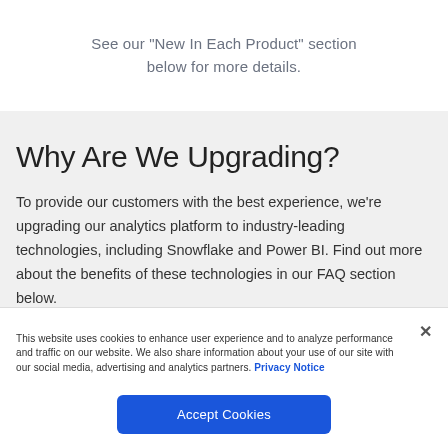See our "New In Each Product" section below for more details.
Why Are We Upgrading?
To provide our customers with the best experience, we're upgrading our analytics platform to industry-leading technologies, including Snowflake and Power BI. Find out more about the benefits of these technologies in our FAQ section below.
This website uses cookies to enhance user experience and to analyze performance and traffic on our website. We also share information about your use of our site with our social media, advertising and analytics partners. Privacy Notice
Accept Cookies